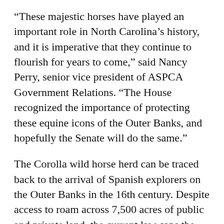“These majestic horses have played an important role in North Carolina’s history, and it is imperative that they continue to flourish for years to come,” said Nancy Perry, senior vice president of ASPCA Government Relations. “The House recognized the importance of protecting these equine icons of the Outer Banks, and hopefully the Senate will do the same.”
The Corolla wild horse herd can be traced back to the arrival of Spanish explorers on the Outer Banks in the 16th century. Despite access to roam across 7,500 acres of public and private land, the current law caps the maximum number of horses at 60, a population deemed too low to maintain the herd’s genetic viability. The Corolla Wild Horses Protection Act would require the